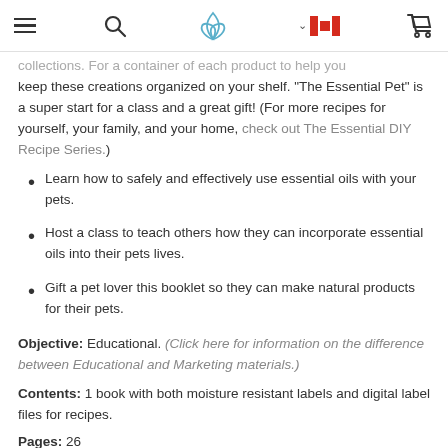navigation header with hamburger menu, search, logo, flag, and cart icons
collections. For a container of each product to help you keep these creations organized on your shelf. "The Essential Pet" is a super start for a class and a great gift! (For more recipes for yourself, your family, and your home, check out The Essential DIY Recipe Series.)
Learn how to safely and effectively use essential oils with your pets.
Host a class to teach others how they can incorporate essential oils into their pets lives.
Gift a pet lover this booklet so they can make natural products for their pets.
Objective: Educational. (Click here for information on the difference between Educational and Marketing materials.)
Contents: 1 book with both moisture resistant labels and digital label files for recipes.
Pages: 26